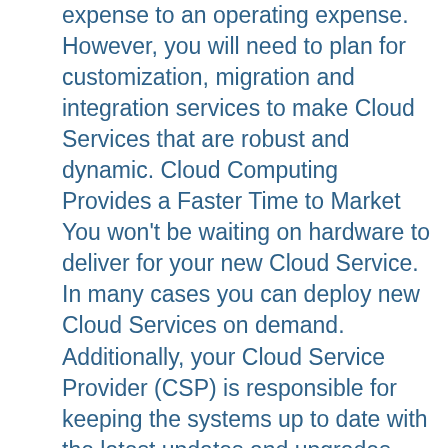expense to an operating expense. However, you will need to plan for customization, migration and integration services to make Cloud Services that are robust and dynamic. Cloud Computing Provides a Faster Time to Market You won't be waiting on hardware to deliver for your new Cloud Service. In many cases you can deploy new Cloud Services on demand. Additionally, your Cloud Service Provider (CSP) is responsible for keeping the systems up to date with the latest updates and upgrades. SaaS providers can upgrade features and functionality during regularly planned maintenance windows. This keeps your systems up to date with